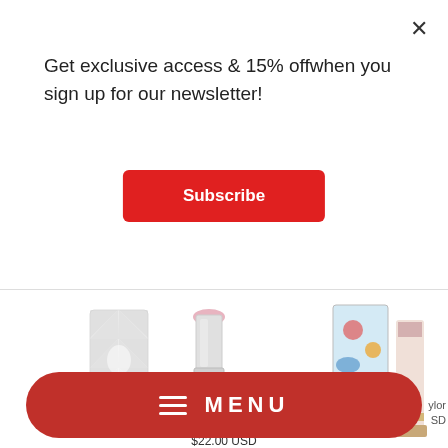Get exclusive access & 15% offwhen you sign up for our newsletter!
Subscribe
[Figure (photo): Two white lipstick products — a closed tube with geometric pattern and an open lipstick with pink tip, shown on white background]
[Figure (photo): Partially visible colorful lipstick products on the right edge of the screen]
$22.00 USD
MENU
ylor USD